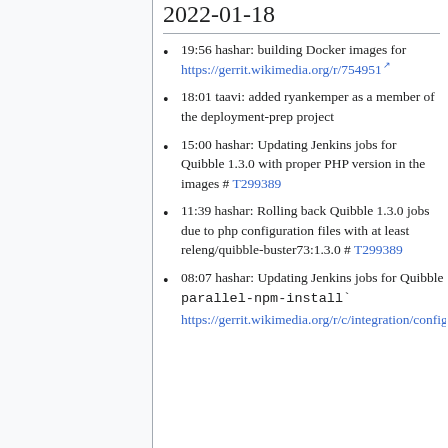2022-01-18
19:56 hashar: building Docker images for https://gerrit.wikimedia.org/r/754951
18:01 taavi: added ryankemper as a member of the deployment-prep project
15:00 hashar: Updating Jenkins jobs for Quibble 1.3.0 with proper PHP version in the images # T299389
11:39 hashar: Rolling back Quibble 1.3.0 jobs due to php configuration files with at least releng/quibble-buster73:1.3.0 # T299389
08:07 hashar: Updating Jenkins jobs for Quibble to pass `--parallel-npm-install` https://gerrit.wikimedia.org/r/c/integration/config/+/754569